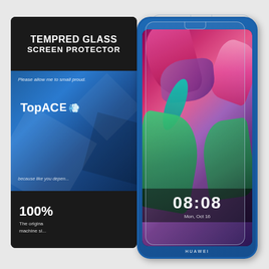[Figure (photo): Product image of TopACE Tempered Glass Screen Protector packaging box (black with blue geometric design) alongside a Huawei smartphone showing bird of paradise wallpaper, with two transparent glass screen protectors displayed in front of the phone.]